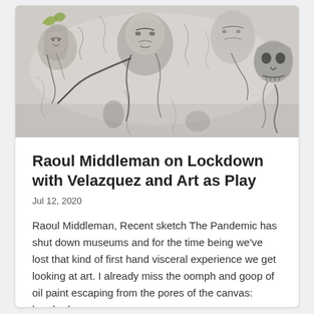[Figure (illustration): A dark, expressive sketch/painting showing multiple distorted human figures rendered in charcoal and ink with watercolor washes. Figures include faces, skulls, and contorted bodies in a raw, visceral style reminiscent of Goya or expressionist art.]
Raoul Middleman on Lockdown with Velazquez and Art as Play
Jul 12, 2020
Raoul Middleman, Recent sketch The Pandemic has shut down museums and for the time being we've lost that kind of first hand visceral experience we get looking at art. I already miss the oomph and goop of oil paint escaping from the pores of the canvas: brushed,...